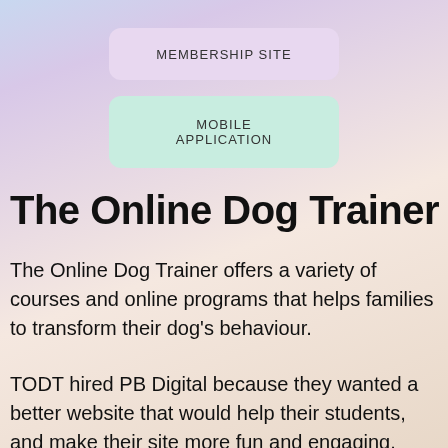MEMBERSHIP SITE
MOBILE APPLICATION
The Online Dog Trainer
The Online Dog Trainer offers a variety of courses and online programs that helps families to transform their dog’s behaviour.
TODT hired PB Digital because they wanted a better website that would help their students, and make their site more fun and engaging.